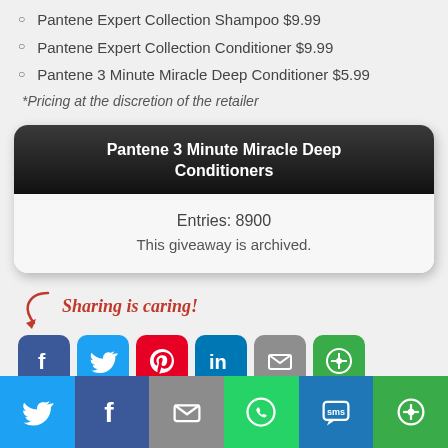Pantene Expert Collection Shampoo $9.99
Pantene Expert Collection Conditioner $9.99
Pantene 3 Minute Miracle Deep Conditioner $5.99
*Pricing at the discretion of the retailer
Pantene 3 Minute Miracle Deep Conditioners
Entries: 8900
This giveaway is archived.
Sharing is caring!
[Figure (infographic): Social sharing buttons: Facebook, Twitter, Pinterest, LinkedIn, Email, More]
[Figure (infographic): Bottom bar social sharing buttons: Twitter, Facebook, Email, WhatsApp, SMS, More]